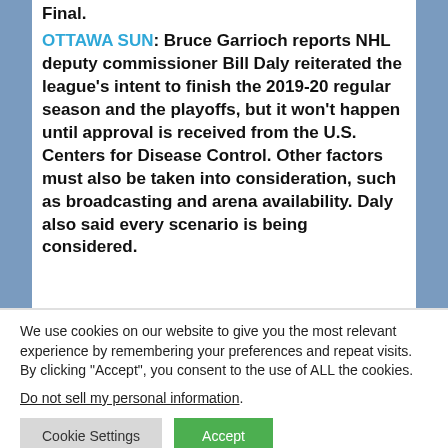Final.
OTTAWA SUN: Bruce Garrioch reports NHL deputy commissioner Bill Daly reiterated the league's intent to finish the 2019-20 regular season and the playoffs, but it won't happen until approval is received from the U.S. Centers for Disease Control. Other factors must also be taken into consideration, such as broadcasting and arena availability. Daly also said every scenario is being considered.
We use cookies on our website to give you the most relevant experience by remembering your preferences and repeat visits. By clicking "Accept", you consent to the use of ALL the cookies.
Do not sell my personal information.